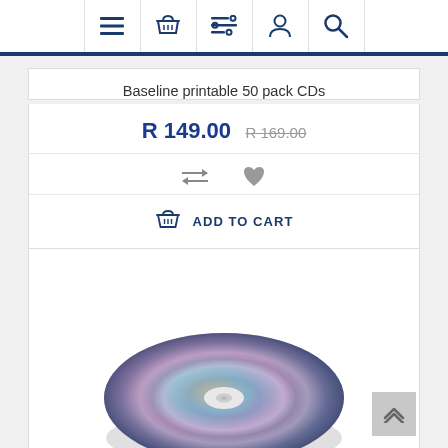[Figure (screenshot): E-commerce website navigation bar with icons: hamburger menu, shopping basket, filter/list, user profile, and search magnifying glass]
Baseline printable 50 pack CDs
R 149.00  R 169.00
[Figure (screenshot): Action icons: compare arrows icon and heart/wishlist icon]
ADD TO CART
[Figure (photo): Product image of CDs / disc pack, partially visible at bottom of page]